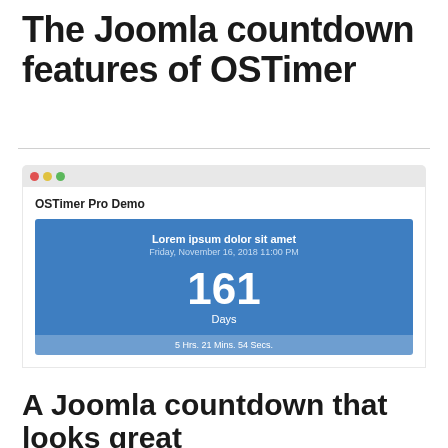The Joomla countdown features of OSTimer
[Figure (screenshot): Browser screenshot showing OSTimer Pro Demo with a blue countdown widget displaying 'Lorem ipsum dolor sit amet', date 'Friday, November 16, 2018 11:00 PM', countdown of 161 Days, and '5 Hrs. 21 Mins. 54 Secs.']
A Joomla countdown that looks great